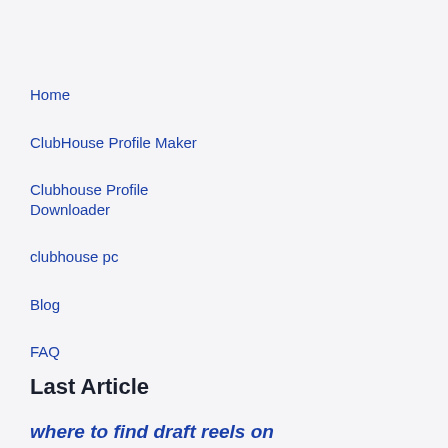Home
ClubHouse Profile Maker
Clubhouse Profile Downloader
clubhouse pc
Blog
FAQ
Last Article
where to find draft reels on